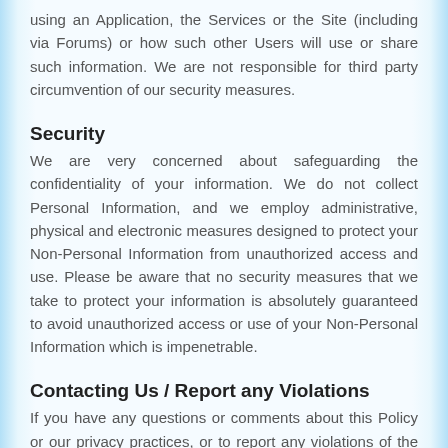using an Application, the Services or the Site (including via Forums) or how such other Users will use or share such information. We are not responsible for third party circumvention of our security measures.
Security
We are very concerned about safeguarding the confidentiality of your information. We do not collect Personal Information, and we employ administrative, physical and electronic measures designed to protect your Non-Personal Information from unauthorized access and use. Please be aware that no security measures that we take to protect your information is absolutely guaranteed to avoid unauthorized access or use of your Non-Personal Information which is impenetrable.
Contacting Us / Report any Violations
If you have any questions or comments about this Policy or our privacy practices, or to report any violations of the Policy or abuse of an Application, the